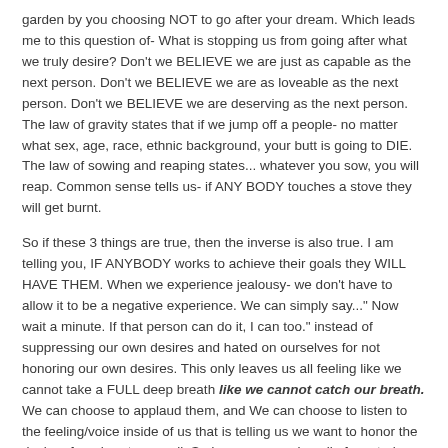garden by you choosing NOT to go after your dream. Which leads me to this question of- What is stopping us from going after what we truly desire? Don't we BELIEVE we are just as capable as the next person. Don't we BELIEVE we are as loveable as the next person. Don't we BELIEVE we are deserving as the next person. The law of gravity states that if we jump off a people- no matter what sex, age, race, ethnic background, your butt is going to DIE. The law of sowing and reaping states... whatever you sow, you will reap. Common sense tells us- if ANY BODY touches a stove they will get burnt.
So if these 3 things are true, then the inverse is also true. I am telling you, IF ANYBODY works to achieve their goals they WILL HAVE THEM. When we experience jealousy- we don't have to allow it to be a negative experience. We can simply say..." Now wait a minute. If that person can do it, I can too." instead of suppressing our own desires and hated on ourselves for not honoring our own desires. This only leaves us all feeling like we cannot take a FULL deep breath like we cannot catch our breath. We can choose to applaud them, and We can choose to listen to the feeling/voice inside of us that is telling us we want to honor the desire of our hearts as well. So I am encouraging all of you today... to listen to all of your feelings... even the negative ones... because they are revealing your inner most desires to you. Embrace them, Love on yourself, and Go After your dreams. Then and only then will the feeling of jealousy go away. It will be quickly converted to intense happiness because you CHOOSE TO believe in yourself. Let me know what comes up for you as you read this. Happy Friday, Happy Everything to the tribe